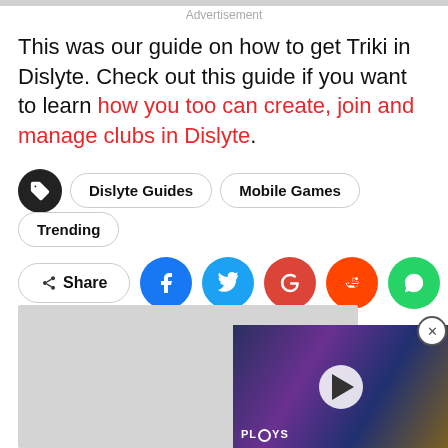Advertisement
This was our guide on how to get Triki in Dislyte. Check out this guide if you want to learn how you too can create, join and manage clubs in Dislyte.
Dislyte Guides
Mobile Games
Trending
Share
[Figure (screenshot): Video thumbnail showing game characters with play button overlay and PLAYS label]